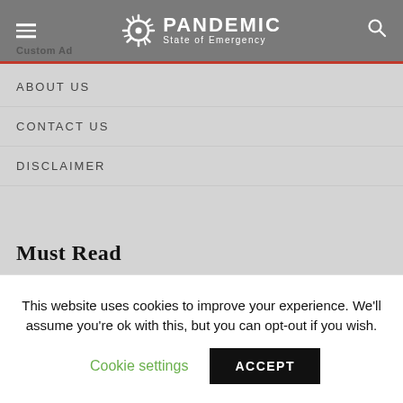PANDEMIC State of Emergency
ABOUT US
CONTACT US
DISCLAIMER
Must Read
NURITOPIA Presents Its Transformational Metaverse for Social Dating
Nikhil Sharma: How this guy is helping small businesses grow
This website uses cookies to improve your experience. We'll assume you're ok with this, but you can opt-out if you wish. Cookie settings ACCEPT